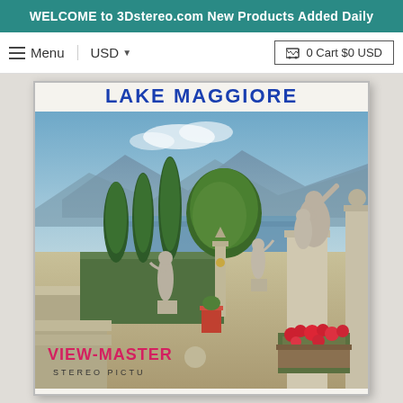WELCOME to 3Dstereo.com New Products Added Daily
Menu  USD  0 Cart $0 USD
[Figure (photo): View-Master stereo picture packet cover for Lake Maggiore, showing a terraced garden with classical statues, cypress trees, lake water, and mountains in the background. The View-Master logo and 'STEREO PICTU[RE]' text appear at the bottom left.]